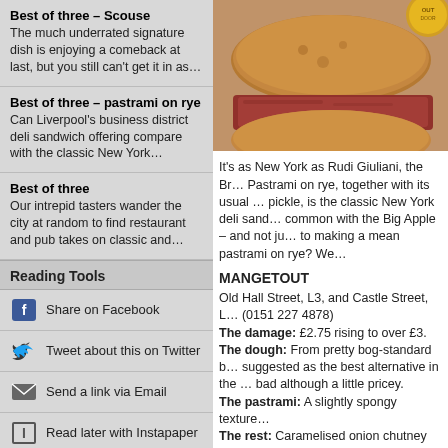Best of three – Scouse
The much underrated signature dish is enjoying a comeback at last, but you still can't get it in as…
Best of three – pastrami on rye
Can Liverpool's business district deli sandwich offering compare with the classic New York…
Best of three
Our intrepid tasters wander the city at random to find restaurant and pub takes on classic and…
Reading Tools
Share on Facebook
Tweet about this on Twitter
Send a link via Email
Read later with Instapaper
View & Add Comment
[Figure (photo): Close-up photo of a pastrami on rye sandwich with a gold circular badge/seal in top right corner]
It's as New York as Rudi Giuliani, the Br… Pastrami on rye, together with its usual … pickle, is the classic New York deli sand… common with the Big Apple – and not ju… to making a mean pastrami on rye? We…
MANGETOUT
Old Hall Street, L3, and Castle Street, L… (0151 227 4878)
The damage: £2.75 rising to over £3.
The dough: From pretty bog-standard b… suggested as the best alternative in the … bad although a little pricey.
The pastrami: A slightly spongy texture…
The rest: Caramelised onion chutney ge… went quite well.
Cuts the mustard? The stars of this sa… are like Yorkshire terriers – they don't l…